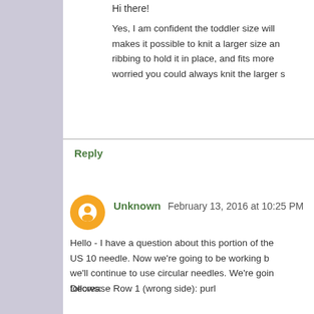Hi there!
Yes, I am confident the toddler size will makes it possible to knit a larger size an ribbing to hold it in place, and fits more worried you could always knit the larger s
Reply
Unknown February 13, 2016 at 10:25 PM
Hello - I have a question about this portion of the US 10 needle. Now we're going to be working b we'll continue to use circular needles. We're goin follows:
Decrease Row 1 (wrong side): purl
[Figure (infographic): Advertisement banner: Official NFL Gear. Get Your Favorite Team's Gear Here. www.nflshop.com. Image of NFL jerseys on left, blue arrow button on right.]